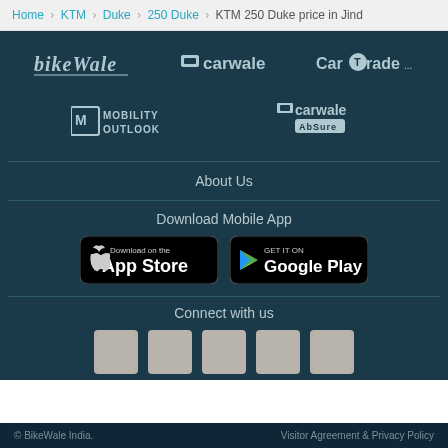Home > KTM > Duke > 250 Duke > KTM 250 Duke price in Jind
[Figure (logo): BikeWale logo]
[Figure (logo): carwale logo]
[Figure (logo): CarTrade logo]
[Figure (logo): Mobility Outlook logo]
[Figure (logo): carwale AbSure logo]
About Us
Download Mobile App
[Figure (other): Download on the App Store button]
[Figure (other): Get it on Google Play button]
Connect with us
[Figure (other): Social media icon 1]
[Figure (other): Social media icon 2]
[Figure (other): Social media icon 3]
[Figure (other): Social media icon 4]
[Figure (other): Social media icon 5]
© BikeWale India.    Visitor Agreement & Privacy Policy